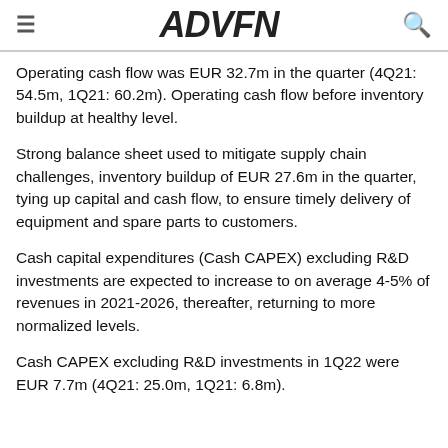ADVFN
Operating cash flow was EUR 32.7m in the quarter (4Q21: 54.5m, 1Q21: 60.2m). Operating cash flow before inventory buildup at healthy level.
Strong balance sheet used to mitigate supply chain challenges, inventory buildup of EUR 27.6m in the quarter, tying up capital and cash flow, to ensure timely delivery of equipment and spare parts to customers.
Cash capital expenditures (Cash CAPEX) excluding R&D investments are expected to increase to on average 4-5% of revenues in 2021-2026, thereafter, returning to more normalized levels.
Cash CAPEX excluding R&D investments in 1Q22 were EUR 7.7m (4Q21: 25.0m, 1Q21: 6.8m).